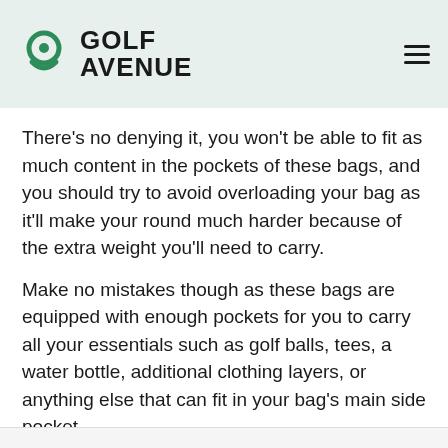Golf Avenue
There's no denying it, you won't be able to fit as much content in the pockets of these bags, and you should try to avoid overloading your bag as it'll make your round much harder because of the extra weight you'll need to carry.
Make no mistakes though as these bags are equipped with enough pockets for you to carry all your essentials such as golf balls, tees, a water bottle, additional clothing layers, or anything else that can fit in your bag's main side pocket.
Shop The TaylorMade 2021 FlexTech Lit Golf Bag